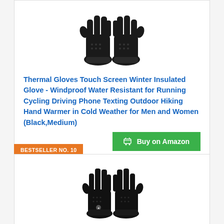[Figure (photo): Black thermal gloves product photo, top view showing pair of gloves]
Thermal Gloves Touch Screen Winter Insulated Glove - Windproof Water Resistant for Running Cycling Driving Phone Texting Outdoor Hiking Hand Warmer in Cold Weather for Men and Women (Black,Medium)
Buy on Amazon
BESTSELLER NO. 10
[Figure (photo): Black gloves product photo, second listing showing a pair of black sport gloves]